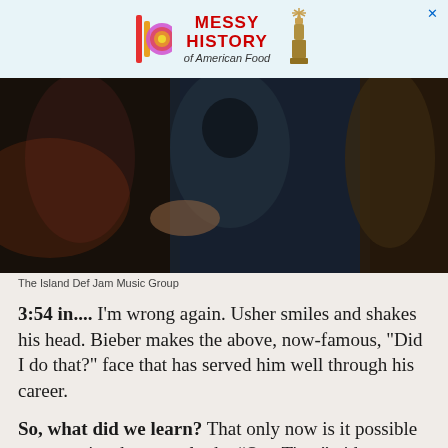[Figure (screenshot): Advertisement banner for 'Messy History of American Food' with colorful logo and Statue of Liberty graphic]
[Figure (photo): Dark photo of people, appears to be a music video scene with figures in hooded sweatshirts]
The Island Def Jam Music Group
3:54 in.... I'm wrong again. Usher smiles and shakes his head. Bieber makes the above, now-famous, "Did I do that?" face that has served him well through his career.
So, what did we learn? That only now is it possible to appreciate how neatly the “One Time” video